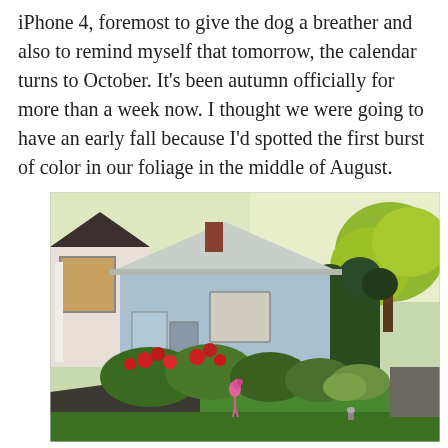iPhone 4, foremost to give the dog a breather and also to remind myself that tomorrow, the calendar turns to October. It's been autumn officially for more than a week now. I thought we were going to have an early fall because I'd spotted the first burst of color in our foliage in the middle of August.
[Figure (photo): Photograph of a light blue suburban house with a white roof, surrounded by lush garden beds with red flowers, green shrubs, and a pink flamingo lawn ornament. A large tree with yellow-green foliage is visible on the right side. The lawn is bright green and the sky is pale. Taken in autumn.]